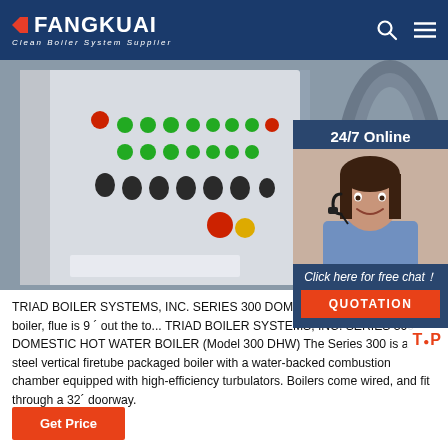[Figure (logo): FangKuai Clean Boiler System Supplier logo on dark blue header bar with search and menu icons]
[Figure (photo): Industrial boiler control panel with multiple colored buttons (red, green, black) and switches on a white panel]
[Figure (photo): 24/7 Online customer service representative wearing a headset, with chat button and QUOTATION button]
TRIAD BOILER SYSTEMS, INC. SERIES 300 DOMES... 2021-5-26 · For ATM boiler, flue is 9 ´ out the to... TRIAD BOILER SYSTEMS, INC. SERIES 300 DOMESTIC HOT WATER BOILER (Model 300 DHW) The Series 300 is a steel vertical firetube packaged boiler with a water-backed combustion chamber equipped with high-efficiency turbulators. Boilers come wired, and fit through a 32´ doorway.
[Figure (other): Get Price orange button]